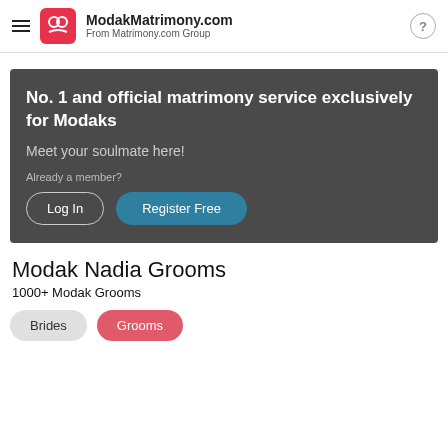ModakMatrimony.com
From Matrimony.com Group
[Figure (screenshot): Dark banner with matrimony service promotional text, Login and Register Free buttons]
Modak Nadia Grooms
1000+ Modak Grooms
Brides	Grooms